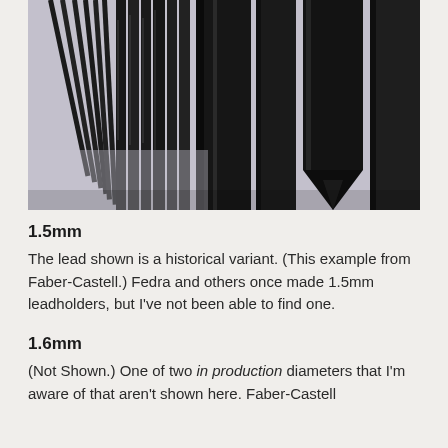[Figure (photo): Close-up photograph of multiple dark graphite/lead pencil rods and sticks arranged vertically, with one sharpened pencil tip visible on the right side. The rods appear black against a light gray/blue background.]
1.5mm
The lead shown is a historical variant. (This example from Faber-Castell.) Fedra and others once made 1.5mm leadholders, but I've not been able to find one.
1.6mm
(Not Shown.) One of two in production diameters that I'm aware of that aren't shown here. Faber-Castell